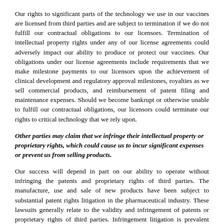Our rights to significant parts of the technology we use in our vaccines are licensed from third parties and are subject to termination if we do not fulfill our contractual obligations to our licensors. Termination of intellectual property rights under any of our license agreements could adversely impact our ability to produce or protect our vaccines. Our obligations under our license agreements include requirements that we make milestone payments to our licensors upon the achievement of clinical development and regulatory approval milestones, royalties as we sell commercial products, and reimbursement of patent filing and maintenance expenses. Should we become bankrupt or otherwise unable to fulfill our contractual obligations, our licensors could terminate our rights to critical technology that we rely upon.
Other parties may claim that we infringe their intellectual property or proprietary rights, which could cause us to incur significant expenses or prevent us from selling products.
Our success will depend in part on our ability to operate without infringing the patents and proprietary rights of third parties. The manufacture, use and sale of new products have been subject to substantial patent rights litigation in the pharmaceutical industry. These lawsuits generally relate to the validity and infringement of patents or proprietary rights of third parties. Infringement litigation is prevalent with respect to generic versions of products for which the patent covering the brand name product is expiring, particularly since many companies that market generic products focus their development efforts on products with expiring patents. Pharmaceutical companies, biotechnology companies, universities, research institutions or other third parties may have filed patent applications or may have been